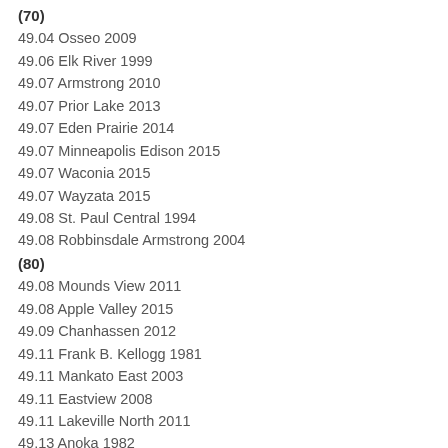(70)
49.04 Osseo 2009
49.06 Elk River 1999
49.07 Armstrong 2010
49.07 Prior Lake 2013
49.07 Eden Prairie 2014
49.07 Minneapolis Edison 2015
49.07 Waconia 2015
49.07 Wayzata 2015
49.08 St. Paul Central 1994
49.08 Robbinsdale Armstrong 2004
(80)
49.08 Mounds View 2011
49.08 Apple Valley 2015
49.09 Chanhassen 2012
49.11 Frank B. Kellogg 1981
49.11 Mankato East 2003
49.11 Eastview 2008
49.11 Lakeville North 2011
49.13 Anoka 1982
49.13 St. Paul Como Park 1985
49.13 Rosemount 1987